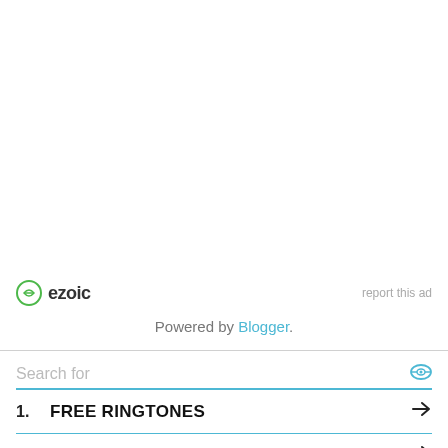[Figure (logo): Ezoic logo with green circular icon and bold text 'ezoic', with 'report this ad' link on the right]
Powered by Blogger.
Search for
1. FREE RINGTONES
2. LUXURY CARS